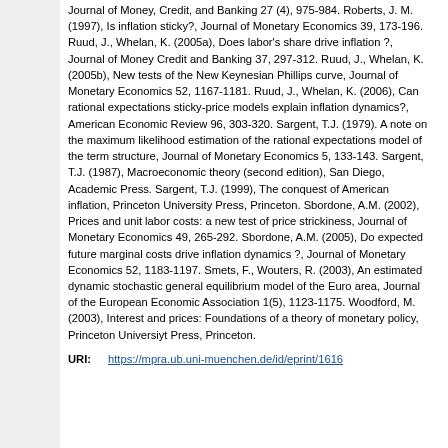Journal of Money, Credit, and Banking 27 (4), 975-984. Roberts, J. M. (1997), Is inflation sticky?, Journal of Monetary Economics 39, 173-196. Ruud, J., Whelan, K. (2005a), Does labor's share drive inflation ?, Journal of Money Credit and Banking 37, 297-312. Ruud, J., Whelan, K. (2005b), New tests of the New Keynesian Phillips curve, Journal of Monetary Economics 52, 1167-1181. Ruud, J., Whelan, K. (2006), Can rational expectations sticky-price models explain inflation dynamics?, American Economic Review 96, 303-320. Sargent, T.J. (1979). A note on the maximum likelihood estimation of the rational expectations model of the term structure, Journal of Monetary Economics 5, 133-143. Sargent, T.J. (1987), Macroeconomic theory (second edition), San Diego, Academic Press. Sargent, T.J. (1999), The conquest of American inflation, Princeton University Press, Princeton. Sbordone, A.M. (2002), Prices and unit labor costs: a new test of price strickiness, Journal of Monetary Economics 49, 265-292. Sbordone, A.M. (2005), Do expected future marginal costs drive inflation dynamics ?, Journal of Monetary Economics 52, 1183-1197. Smets, F., Wouters, R. (2003), An estimated dynamic stochastic general equilibrium model of the Euro area, Journal of the European Economic Association 1(5), 1123-1175. Woodford, M. (2003), Interest and prices: Foundations of a theory of monetary policy, Princeton Universiyt Press, Princeton.
URI: https://mpra.ub.uni-muenchen.de/id/eprint/1616